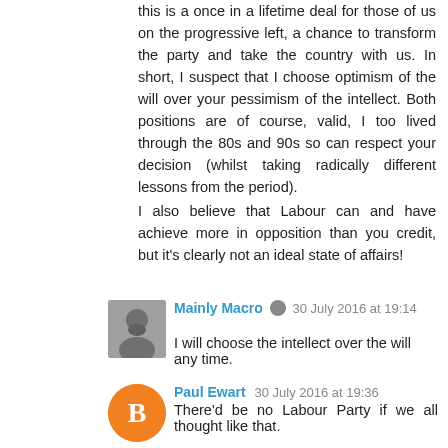this is a once in a lifetime deal for those of us on the progressive left, a chance to transform the party and take the country with us. In short, I suspect that I choose optimism of the will over your pessimism of the intellect. Both positions are of course, valid, I too lived through the 80s and 90s so can respect your decision (whilst taking radically different lessons from the period).
I also believe that Labour can and have achieve more in opposition than you credit, but it's clearly not an ideal state of affairs!
Mainly Macro  30 July 2016 at 19:14
I will choose the intellect over the will any time.
Paul Ewart  30 July 2016 at 19:36
There'd be no Labour Party if we all thought like that.